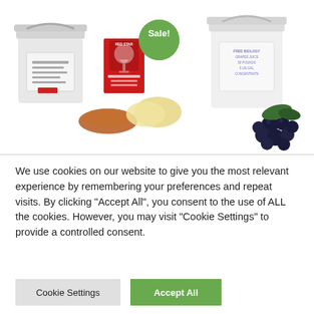[Figure (photo): Two white buckets with various wine-making products. Left group shows a white bucket, a red packet labeled 'RED STAR Powder Chitosan', brown powder, and two round discs. A green 'Sale!' badge is positioned above the left group. Right group shows a larger white bucket labeled 'FREE BIOLOGY GRAPES JUICE 50 POUNDS 5 US GAL CONCENTRATE' with dark berries/grapes next to it.]
We use cookies on our website to give you the most relevant experience by remembering your preferences and repeat visits. By clicking "Accept All", you consent to the use of ALL the cookies. However, you may visit "Cookie Settings" to provide a controlled consent.
Cookie Settings
Accept All